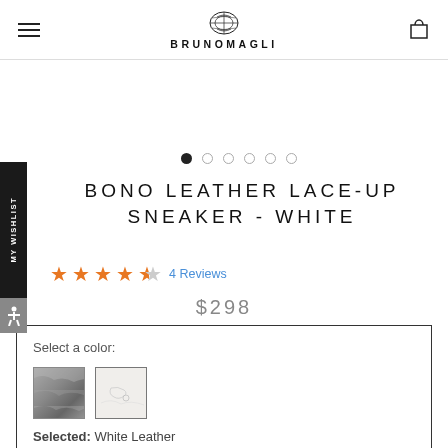BRUNOMAGLI
BONO LEATHER LACE-UP SNEAKER - WHITE
★★★★½ 4 Reviews
$298
Select a color:
Selected: White Leather